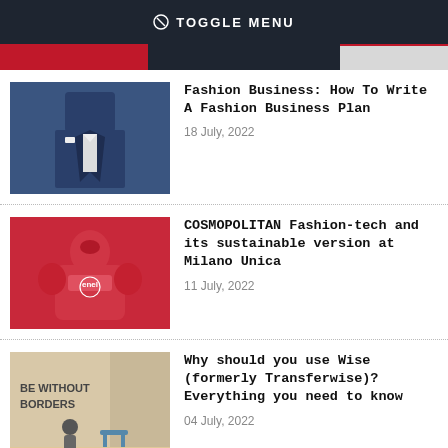TOGGLE MENU
Fashion Business: How To Write A Fashion Business Plan
18 July, 2022
COSMOPOLITAN Fashion-tech and its sustainable version at Milano Unica
11 July, 2022
Why should you use Wise (formerly Transferwise)? Everything you need to know
04 July, 2022
7 Biggest Men's Fashion Trends 2022/2023
29 June, 2022